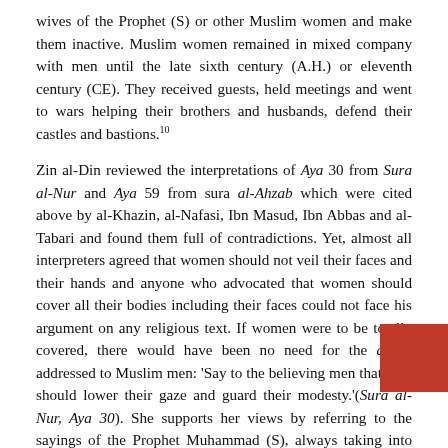wives of the Prophet (S) or other Muslim women and make them inactive. Muslim women remained in mixed company with men until the late sixth century (A.H.) or eleventh century (CE). They received guests, held meetings and went to wars helping their brothers and husbands, defend their castles and bastions.10
Zin al-Din reviewed the interpretations of Aya 30 from Sura al-Nur and Aya 59 from sura al-Ahzab which were cited above by al-Khazin, al-Nafasi, Ibn Masud, Ibn Abbas and al-Tabari and found them full of contradictions. Yet, almost all interpreters agreed that women should not veil their faces and their hands and anyone who advocated that women should cover all their bodies including their faces could not face his argument on any religious text. If women were to be totally covered, there would have been no need for the ayahs addressed to Muslim men: 'Say to the believing men that they should lower their gaze and guard their modesty.'(Sura al-Nur, Aya 30). She supports her views by referring to the sayings of the Prophet Muhammad (S), always taking into account what the Prophet himself said 'I did not say a thing that is